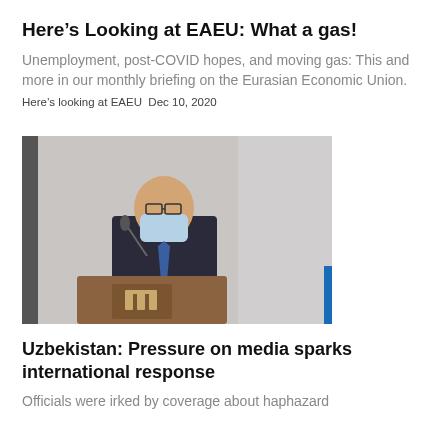Here’s Looking at EAEU: What a gas!
Unemployment, post-COVID hopes, and moving gas: This and more in our monthly briefing on the Eurasian Economic Union.
Here’s looking at EAEU Dec 10, 2020
[Figure (photo): A man wearing a face mask and dark suit speaking at a podium with a microphone]
Uzbekistan: Pressure on media sparks international response
Officials were irked by coverage about haphazard